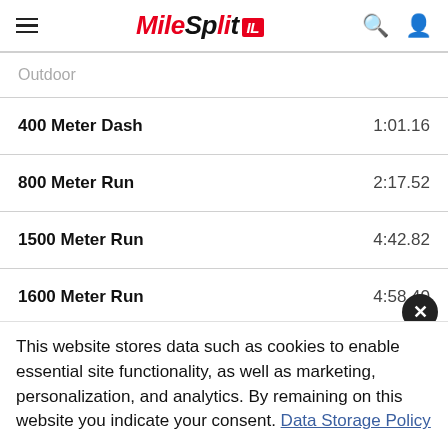MileSplit IL
Outdoor
| Event | Time |
| --- | --- |
| 400 Meter Dash | 1:01.16 |
| 800 Meter Run | 2:17.52 |
| 1500 Meter Run | 4:42.82 |
| 1600 Meter Run | 4:58.40 |
This website stores data such as cookies to enable essential site functionality, as well as marketing, personalization, and analytics. By remaining on this website you indicate your consent. Data Storage Policy